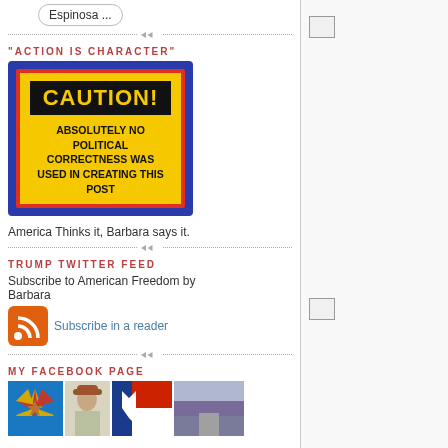Espinosa ...
"ACTION IS CHARACTER"
[Figure (infographic): Caution sign with yellow background, red border, blue outer border. Text reads: CAUTION! ABSOLUTELY NO POLITICAL CORRECTNESS WAS USED IN CREATING THIS POST]
America Thinks it, Barbara says it.
TRUMP TWITTER FEED
Subscribe to American Freedom by Barbara
[Figure (logo): RSS feed orange icon followed by Subscribe in a reader link]
MY FACEBOOK PAGE
[Figure (photo): Row of four thumbnail photos: Arizona flag, woman in hat, Texas flag, purple flower field/road]